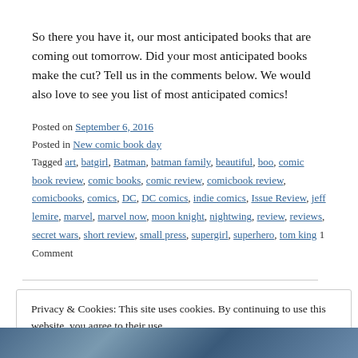So there you have it, our most anticipated books that are coming out tomorrow. Did your most anticipated books make the cut? Tell us in the comments below. We would also love to see you list of most anticipated comics!
Posted on September 6, 2016
Posted in New comic book day
Tagged art, batgirl, Batman, batman family, beautiful, boo, comic book review, comic books, comic review, comicbook review, comicbooks, comics, DC, DC comics, indie comics, Issue Review, jeff lemire, marvel, marvel now, moon knight, nightwing, review, reviews, secret wars, short review, small press, supergirl, superhero, tom king 1 Comment
Privacy & Cookies: This site uses cookies. By continuing to use this website, you agree to their use.
To find out more, including how to control cookies, see here: Cookie Policy
[Figure (photo): Comic book artwork image at the bottom of the page showing illustrated characters in blue tones]